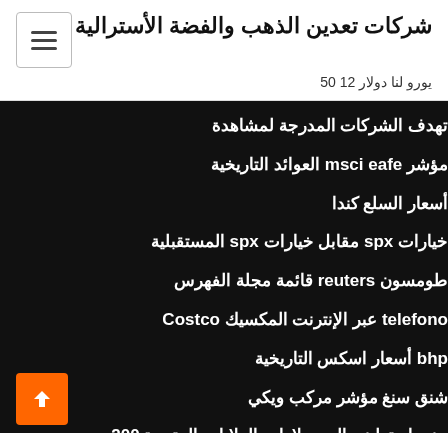شركات تعدين الذهب والفضة الأسترالية
يورو لنا دولار 12 50
تهدف الشركات المدرجة لمشاهدة
مؤشر msci eafe العوائد التاريخية
أسعار السلع كندا
خيارات spx مقابل خيارات spx المستقبلية
طومسون reuters قائمة مجلة الفهرس
telefono عبر الإنترنت المكسيك Costco
bhp أسعار اسكس التاريخية
شنق سنغ مؤشر مركب ويكي
جنيه إسترليني إلى دولارات الولايات المتحدة 200
bp احتياطي النفط العالمي